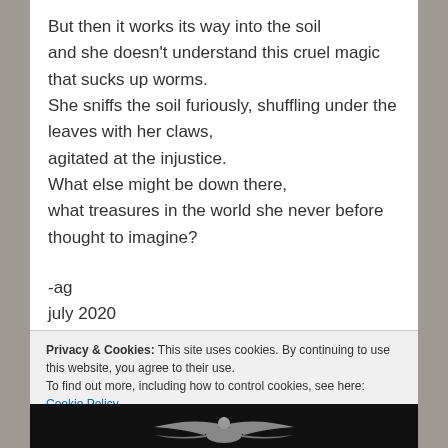But then it works its way into the soil
and she doesn't understand this cruel magic
that sucks up worms.
She sniffs the soil furiously, shuffling under the
leaves with her claws,
agitated at the injustice.
What else might be down there,
what treasures in the world she never before
thought to imagine?
-ag
july 2020
Privacy & Cookies: This site uses cookies. By continuing to use this website, you agree to their use.
To find out more, including how to control cookies, see here: Cookie Policy
Close and accept
[Figure (illustration): Dark illustration of a bird/eagle with spread wings at the bottom of the page]